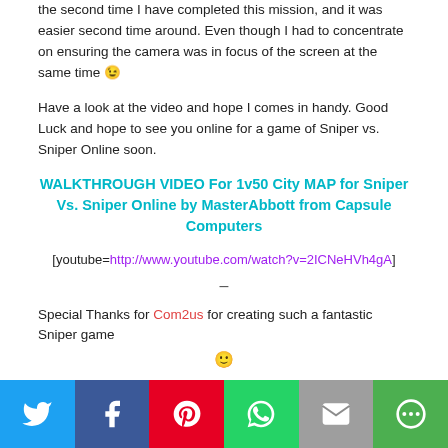the second time I have completed this mission, and it was easier second time around.  Even though I had to concentrate on ensuring the camera was in focus of the screen at the same time 😉
Have a look at the video and hope I comes in handy.  Good Luck and hope to see you online for a game of Sniper vs. Sniper Online soon.
WALKTHROUGH VIDEO For 1v50 City MAP for Sniper Vs. Sniper Online by MasterAbbott from Capsule Computers
[youtube=http://www.youtube.com/watch?v=2ICNeHVh4gA]
–
Special Thanks for Com2us for creating such a fantastic Sniper game 🙂
[Figure (infographic): Social sharing bar with Twitter, Facebook, Pinterest, WhatsApp, Email, and More options buttons]